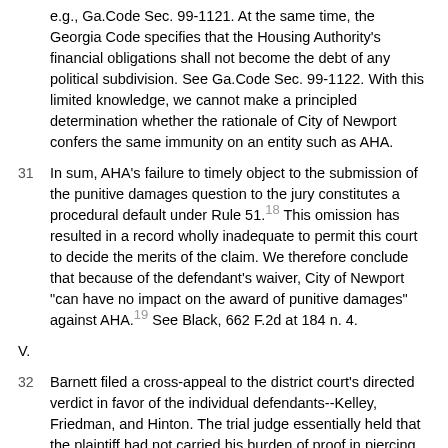e.g., Ga.Code Sec. 99-1121. At the same time, the Georgia Code specifies that the Housing Authority's financial obligations shall not become the debt of any political subdivision. See Ga.Code Sec. 99-1122. With this limited knowledge, we cannot make a principled determination whether the rationale of City of Newport confers the same immunity on an entity such as AHA.
31 In sum, AHA's failure to timely object to the submission of the punitive damages question to the jury constitutes a procedural default under Rule 51.18 This omission has resulted in a record wholly inadequate to permit this court to decide the merits of the claim. We therefore conclude that because of the defendant's waiver, City of Newport "can have no impact on the award of punitive damages" against AHA.19 See Black, 662 F.2d at 184 n. 4.
V.
32 Barnett filed a cross-appeal to the district court's directed verdict in favor of the individual defendants--Kelley, Friedman, and Hinton. The trial judge essentially held that the plaintiff had not carried his burden of proof in piercing the officials' qualified immunity.20 More specifically, the court decided that the plaintiff had failed to establish